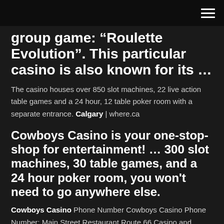group game: “Roulette Evolution”. This particular casino is also known for its …
The casino houses over 850 slot machines, 22 live action table games and a 24 hour, 12 table poker room with a separate entrance. Calgary | where.ca
Cowboys Casino is your one-stop-shop for entertainment! … 300 slot machines, 30 table games, and a 24 hour poker room, you won’t need to go anywhere else.
Cowboys Casino Phone Number Cowboys Casino Phone Number; Main Street Restaurant Route 66 Casino and